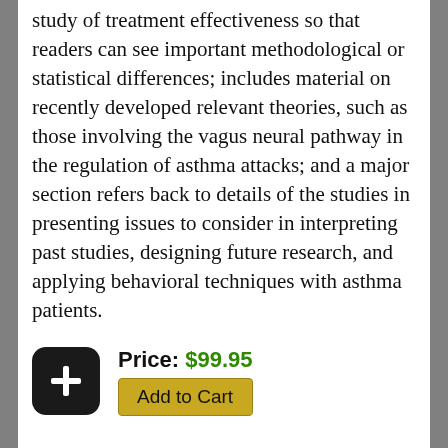study of treatment effectiveness so that readers can see important methodological or statistical differences; includes material on recently developed relevant theories, such as those involving the vagus neural pathway in the regulation of asthma attacks; and a major section refers back to details of the studies in presenting issues to consider in interpreting past studies, designing future research, and applying behavioral techniques with asthma patients.
Price: $99.95
Add to Cart
Biomedical Ethics in Canada
Williams, John R.
1986 ^ 0-88946-149-X ^ 194 pages
Attempts to set forth as accurate a picture as